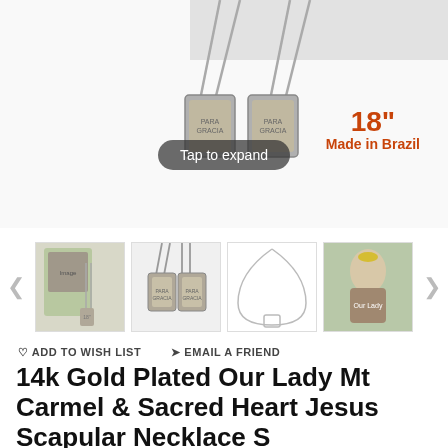[Figure (photo): Main product image showing two metal scapular medal pendants hanging from ball chain necklace, with '18 inch Made in Brazil' text and 'Tap to expand' overlay button]
[Figure (photo): Thumbnail strip with 4 product photos: full packaging view, close-up of two medals, scapular necklace outline, and religious icon image of Our Lady of Mt Carmel]
♡ ADD TO WISH LIST    ✈ EMAIL A FRIEND
14k Gold Plated Our Lady Mt Carmel & Sacred Heart Jesus Scapular Necklace S
☆☆☆☆☆  0 Review(s)   Write a Review
Your Price:  $14.00